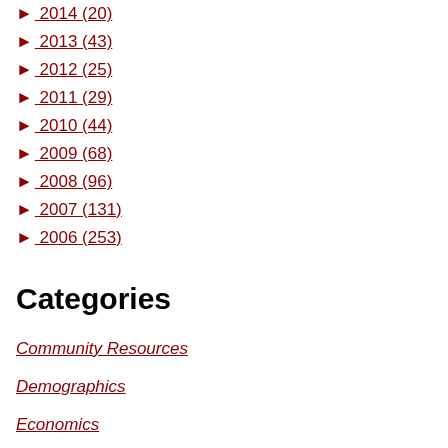► 2014 (20)
► 2013 (43)
► 2012 (25)
► 2011 (29)
► 2010 (44)
► 2009 (68)
► 2008 (96)
► 2007 (131)
► 2006 (253)
Categories
Community Resources
Demographics
Economics
Health & Safety
Immigration Reform legislation